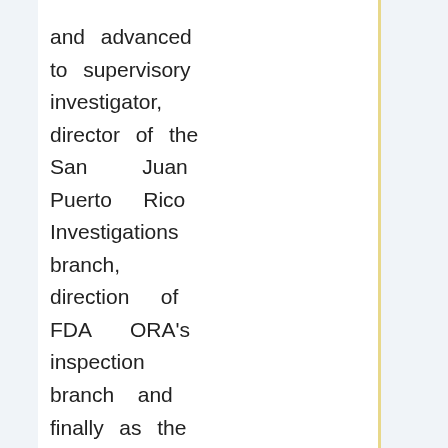and advanced to supervisory investigator, director of the San Juan Puerto Rico Investigations branch, direction of FDA ORA's inspection branch and finally as the director of the Office of Enforcement'